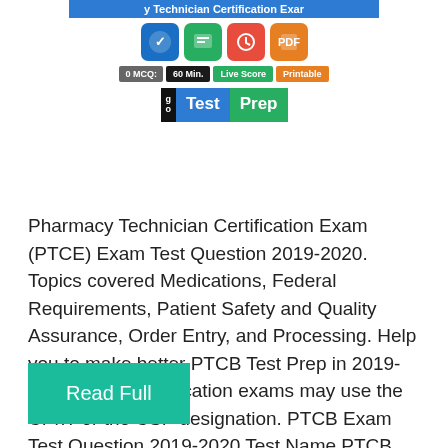[Figure (logo): Pharmacy Technician Certification Exam banner with icons for MCQ, 60 Min., Live Score, Printable, and Test Prep logo]
Pharmacy Technician Certification Exam (PTCE) Exam Test Question 2019-2020. Topics covered Medications, Federal Requirements, Patient Safety and Quality Assurance, Order Entry, and Processing. Help you to make better PTCB Test Prep in 2019-2020. PTCB certification exams may use the CPhT or the CSP designation. PTCB Exam Test Question 2019-2020 Test Name PTCB Certification Exam Test …
Read Full